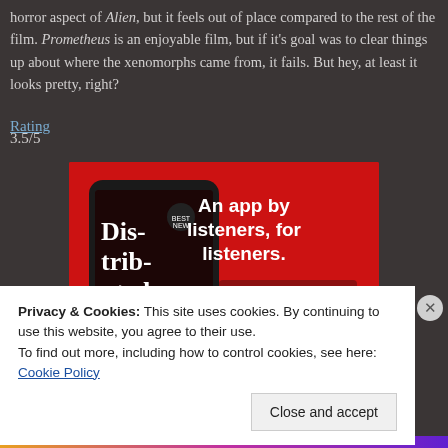horror aspect of Alien, but it feels out of place compared to the rest of the film. Prometheus is an enjoyable film, but if it’s goal was to clear things up about where the xenomorphs came from, it fails. But hey, at least it looks pretty, right?
Rating
3.5/5
[Figure (illustration): Advertisement banner for a podcast app called 'Distributed'. Shows a smartphone displaying the app interface on a red background. Text reads 'An app by listeners, for listeners.' with a 'Download now' button.]
Privacy & Cookies: This site uses cookies. By continuing to use this website, you agree to their use.
To find out more, including how to control cookies, see here: Cookie Policy
Close and accept